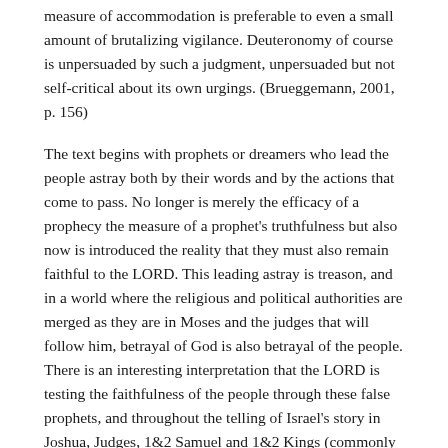measure of accommodation is preferable to even a small amount of brutalizing vigilance. Deuteronomy of course is unpersuaded by such a judgment, unpersuaded but not self-critical about its own urgings. (Brueggemann, 2001, p. 156)
The text begins with prophets or dreamers who lead the people astray both by their words and by the actions that come to pass. No longer is merely the efficacy of a prophecy the measure of a prophet's truthfulness but also now is introduced the reality that they must also remain faithful to the LORD. This leading astray is treason, and in a world where the religious and political authorities are merged as they are in Moses and the judges that will follow him, betrayal of God is also betrayal of the people. There is an interesting interpretation that the LORD is testing the faithfulness of the people through these false prophets, and throughout the telling of Israel's story in Joshua, Judges, 1&2 Samuel and 1&2 Kings (commonly known as the Deuteronomic history because these books share a common